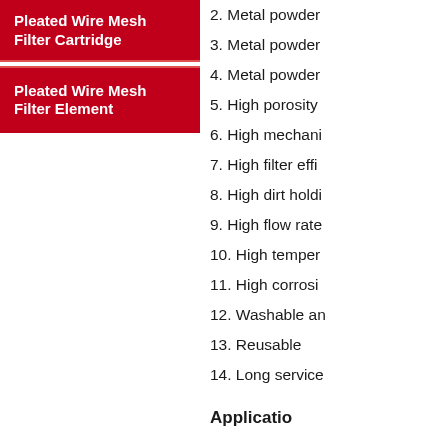Pleated Wire Mesh Filter Cartridge
Pleated Wire Mesh Filter Element
2. Metal powder
3. Metal powder
4. Metal powder
5. High porosity
6. High mechani
7. High filter effi
8. High dirt holdi
9. High flow rate
10. High temper
11. High corrosi
12. Washable an
13. Reusable
14. Long service
Applicatio